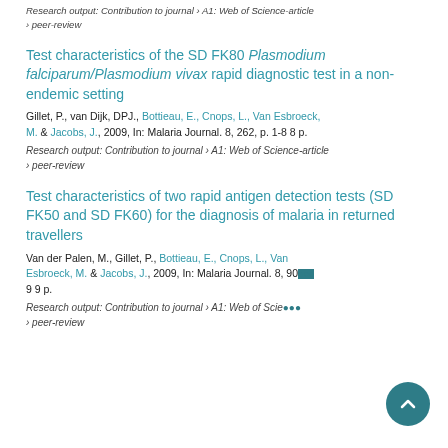Research output: Contribution to journal › A1: Web of Science-article › peer-review
Test characteristics of the SD FK80 Plasmodium falciparum/Plasmodium vivax rapid diagnostic test in a non-endemic setting
Gillet, P., van Dijk, DPJ., Bottieau, E., Cnops, L., Van Esbroeck, M. & Jacobs, J., 2009, In: Malaria Journal. 8, 262, p. 1-8 8 p.
Research output: Contribution to journal › A1: Web of Science-article › peer-review
Test characteristics of two rapid antigen detection tests (SD FK50 and SD FK60) for the diagnosis of malaria in returned travellers
Van der Palen, M., Gillet, P., Bottieau, E., Cnops, L., Van Esbroeck, M. & Jacobs, J., 2009, In: Malaria Journal. 8, 90... 9 9 p.
Research output: Contribution to journal › A1: Web of Science-article › peer-review